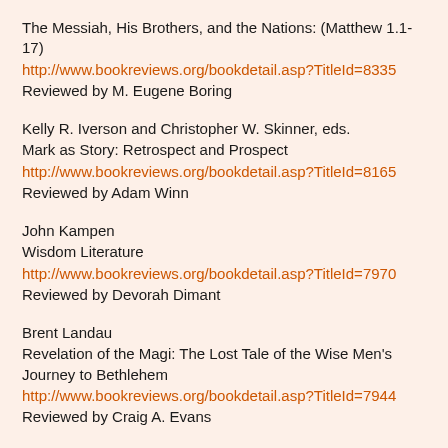The Messiah, His Brothers, and the Nations: (Matthew 1.1-17)
http://www.bookreviews.org/bookdetail.asp?TitleId=8335
Reviewed by M. Eugene Boring
Kelly R. Iverson and Christopher W. Skinner, eds.
Mark as Story: Retrospect and Prospect
http://www.bookreviews.org/bookdetail.asp?TitleId=8165
Reviewed by Adam Winn
John Kampen
Wisdom Literature
http://www.bookreviews.org/bookdetail.asp?TitleId=7970
Reviewed by Devorah Dimant
Brent Landau
Revelation of the Magi: The Lost Tale of the Wise Men's Journey to Bethlehem
http://www.bookreviews.org/bookdetail.asp?TitleId=7944
Reviewed by Craig A. Evans
Cotton Mather; ed. Reiner Smolinski